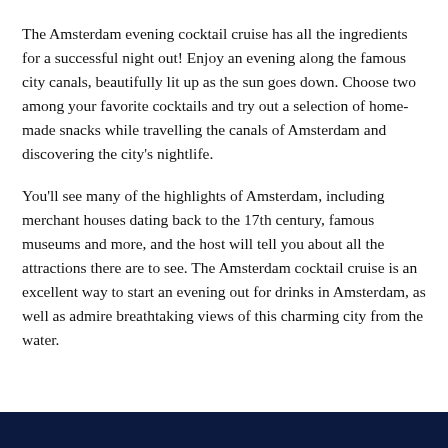The Amsterdam evening cocktail cruise has all the ingredients for a successful night out! Enjoy an evening along the famous city canals, beautifully lit up as the sun goes down. Choose two among your favorite cocktails and try out a selection of home-made snacks while travelling the canals of Amsterdam and discovering the city's nightlife.
You'll see many of the highlights of Amsterdam, including merchant houses dating back to the 17th century, famous museums and more, and the host will tell you about all the attractions there are to see. The Amsterdam cocktail cruise is an excellent way to start an evening out for drinks in Amsterdam, as well as admire breathtaking views of this charming city from the water.
[Figure (photo): Dark navy blue banner/image at the bottom of the page]